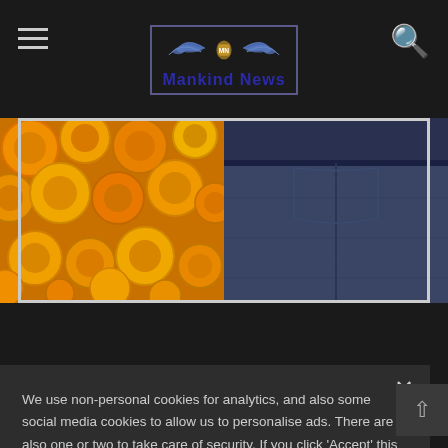Mankind News
[Figure (photo): Left half: close-up photo of orange blood cells/cholesterol cells with golden-orange glow. Right half: close-up photo of denim jeans waistband area in dark blue.]
We use non-personal cookies for analytics, and also some social media cookies to allow us to personalise ads. There are also one or two to take care of security. If you click 'Accept' this will allow us to use Analytics and Marketing cookies. You have full control over which cookies may be set by clicking 'Settings'.